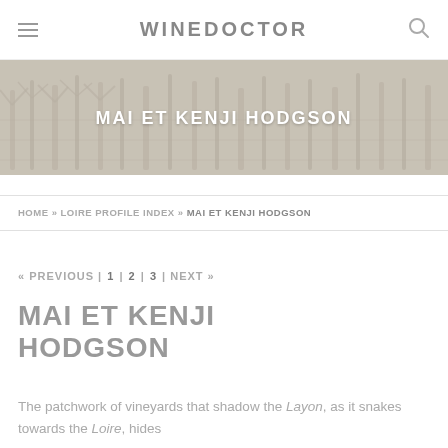WINEDOCTOR
[Figure (photo): Background photo of bare vineyard trees in winter, with a beige/grey tone. Overlaid with white bold text: MAI ET KENJI HODGSON]
MAI ET KENJI HODGSON
HOME » LOIRE PROFILE INDEX » MAI ET KENJI HODGSON
« PREVIOUS | 1 | 2 | 3 | NEXT »
MAI ET KENJI HODGSON
The patchwork of vineyards that shadow the Layon, as it snakes towards the Loire, hides